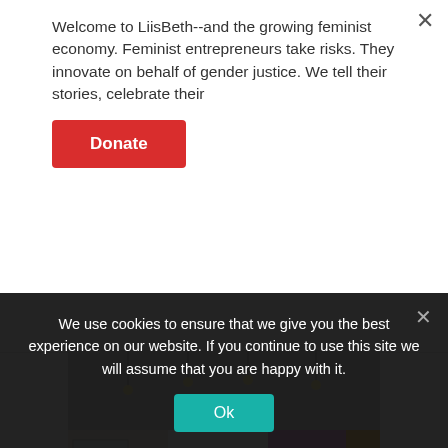Welcome to LiisBeth--and the growing feminist economy. Feminist entrepreneurs take risks. They innovate on behalf of gender justice. We tell their stories, celebrate their
Donate
[Figure (photo): Interior of a co-working office space with people sitting at tables. In the background is a pink/purple wall with large white text reading 'WE BELIEVE WE CAN'. A woman in an orange patterned jacket stands in the center smiling. The ceiling has Edison bulb string lights.]
We use cookies to ensure that we give you the best experience on our website. If you continue to use this site we will assume that you are happy with it.
Ok